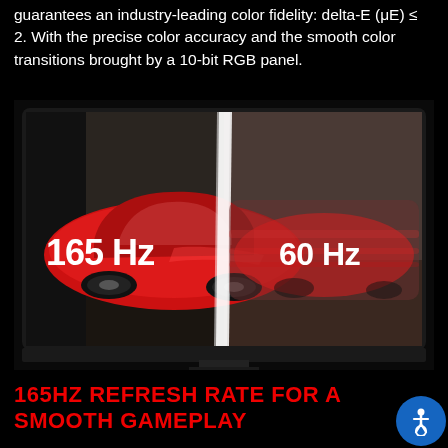guarantees an industry-leading color fidelity: delta-E (μE) ≤ 2. With the precise color accuracy and the smooth color transitions brought by a 10-bit RGB panel.
[Figure (photo): A curved gaming monitor displaying a red sports car. The screen is split showing '165 Hz' on the left (sharp image) and '60 Hz' on the right (blurred image), demonstrating refresh rate difference.]
165HZ REFRESH RATE FOR A SMOOTH GAMEPLAY
Experience a smooth and crisp gameplay with the high refresh rate and fast response time that will also majorly reduce monitor blur. The high refresh rate also gives you the advantage of a low system latency gaming